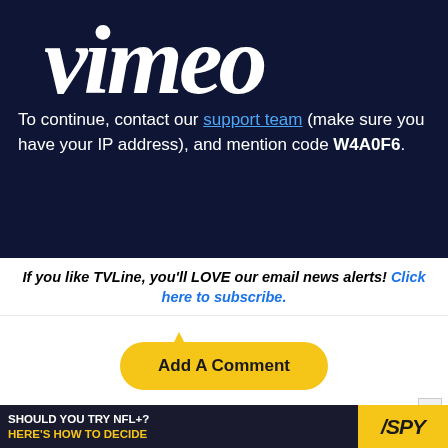[Figure (logo): Vimeo logo in white italic script font on dark navy background]
To continue, contact our support team (make sure you have your IP address), and mention code W4A0F6.
If you like TVLine, you'll LOVE our email news alerts! Click here to subscribe.
Add A Comment
[Figure (infographic): Ad banner: SHOULD YOU TRY NFL+? HERE'S HOW TO DECIDE with SPY logo on yellow background]